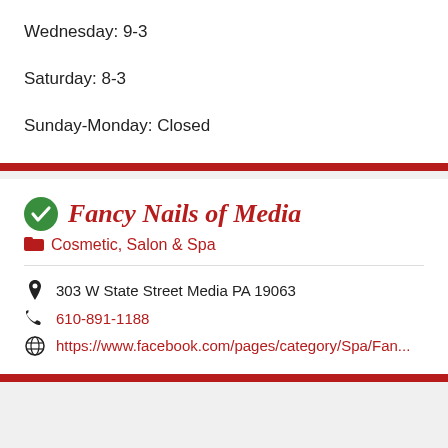Wednesday: 9-3

Saturday: 8-3

Sunday-Monday: Closed
Fancy Nails of Media
Cosmetic, Salon & Spa
303 W State Street Media PA 19063
610-891-1188
https://www.facebook.com/pages/category/Spa/Fan...